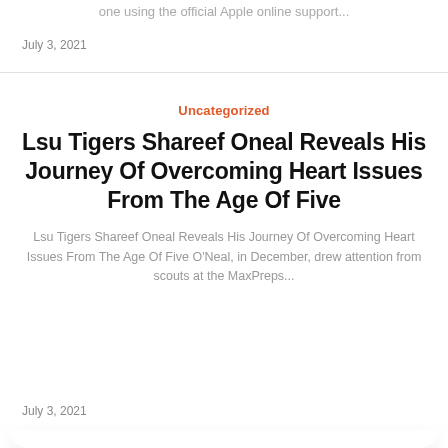one using the official Apple online support...
July 3, 2021
Uncategorized
Lsu Tigers Shareef Oneal Reveals His Journey Of Overcoming Heart Issues From The Age Of Five
Lsu Tigers Shareef Oneal Reveals His Journey Of Overcoming Heart Issues From The Age Of Five O'Neal, in December, drew attention from scouts at the MaxPreps...
July 3, 2021